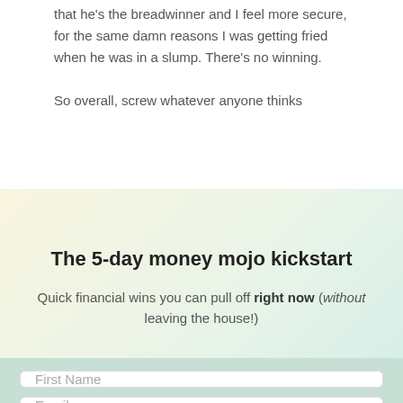that he's the breadwinner and I feel more secure, for the same damn reasons I was getting fried when he was in a slump. There's no winning.

So overall, screw whatever anyone thinks
The 5-day money mojo kickstart
Quick financial wins you can pull off right now (without leaving the house!)